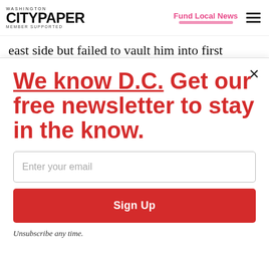Washington City Paper — Member Supported | Fund Local News
east side but failed to vault him into first
We know D.C. Get our free newsletter to stay in the know.
Enter your email
Sign Up
Unsubscribe any time.